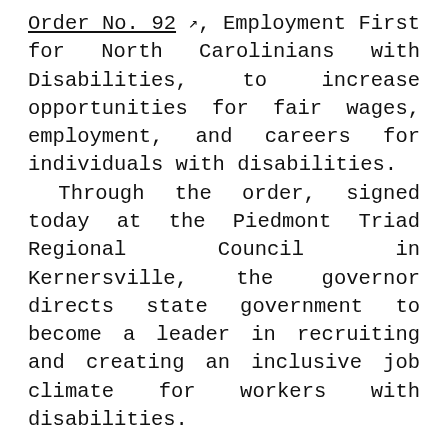Order No. 92 [external link icon], Employment First for North Carolinians with Disabilities, to increase opportunities for fair wages, employment, and careers for individuals with disabilities.
Through the order, signed today at the Piedmont Triad Regional Council in Kernersville, the governor directs state government to become a leader in recruiting and creating an inclusive job climate for workers with disabilities.
“North Carolina can be its best when all people have the opportunity to achieve their potential and live lives of purpose, including North Carolinians with disabilities,” said Gov. Cooper. “With this order, I’m establishing meaningful work as the first and preferred choice for all North Carolinians, regardless of disability, and directing state government to